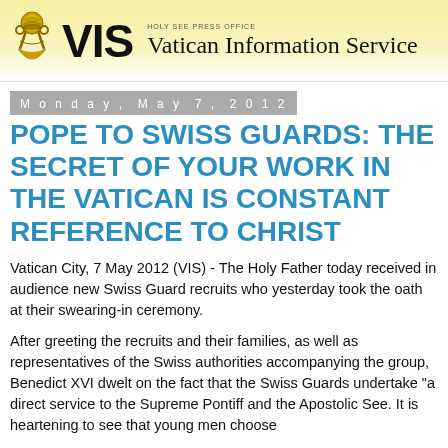[Figure (logo): Vatican Information Service (VIS) header banner with papal emblem, bold VIS text, and 'Vatican Information Service' title on yellow/cream gradient background]
Monday, May 7, 2012
POPE TO SWISS GUARDS: THE SECRET OF YOUR WORK IN THE VATICAN IS CONSTANT REFERENCE TO CHRIST
Vatican City, 7 May 2012 (VIS) - The Holy Father today received in audience new Swiss Guard recruits who yesterday took the oath at their swearing-in ceremony.
After greeting the recruits and their families, as well as representatives of the Swiss authorities accompanying the group, Benedict XVI dwelt on the fact that the Swiss Guards undertake "a direct service to the Supreme Pontiff and the Apostolic See. It is heartening to see that young men choose